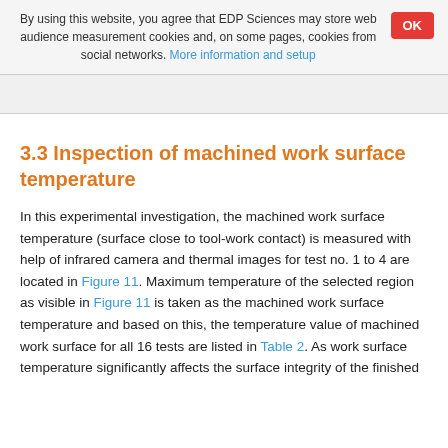By using this website, you agree that EDP Sciences may store web audience measurement cookies and, on some pages, cookies from social networks. More information and setup
3.3 Inspection of machined work surface temperature
In this experimental investigation, the machined work surface temperature (surface close to tool-work contact) is measured with help of infrared camera and thermal images for test no. 1 to 4 are located in Figure 11. Maximum temperature of the selected region as visible in Figure 11 is taken as the machined work surface temperature and based on this, the temperature value of machined work surface for all 16 tests are listed in Table 2. As work surface temperature significantly affects the surface integrity of the finished